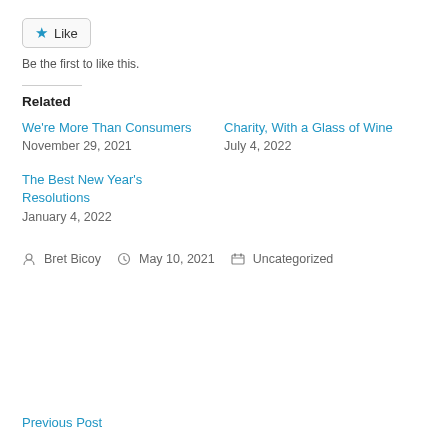[Figure (other): Like button with star icon]
Be the first to like this.
Related
We're More Than Consumers
November 29, 2021
Charity, With a Glass of Wine
July 4, 2022
The Best New Year's Resolutions
January 4, 2022
Bret Bicoy  May 10, 2021  Uncategorized
Previous Post